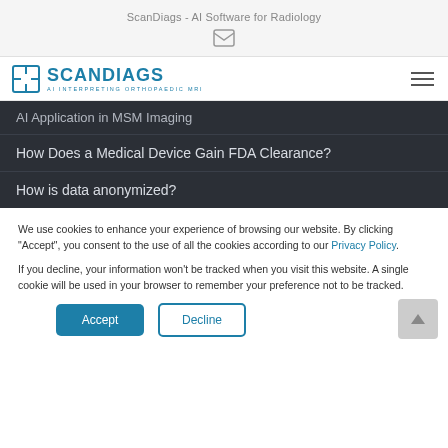ScanDiags - AI Software for Radiology
[Figure (logo): ScanDiags logo with icon and text 'AI INTERPRETING ORTHOPAEDIC MRI']
AI Application in MSM Imaging
How Does a Medical Device Gain FDA Clearance?
How is data anonymized?
We use cookies to enhance your experience of browsing our website. By clicking “Accept”, you consent to the use of all the cookies according to our Privacy Policy.
If you decline, your information won’t be tracked when you visit this website. A single cookie will be used in your browser to remember your preference not to be tracked.